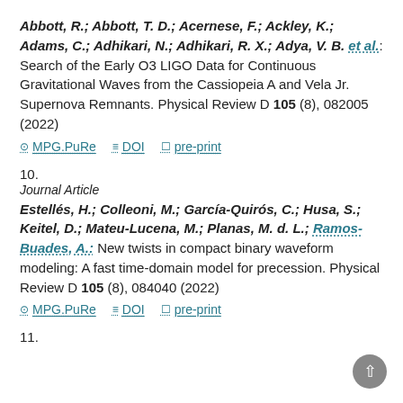Abbott, R.; Abbott, T. D.; Acernese, F.; Ackley, K.; Adams, C.; Adhikari, N.; Adhikari, R. X.; Adya, V. B. et al.: Search of the Early O3 LIGO Data for Continuous Gravitational Waves from the Cassiopeia A and Vela Jr. Supernova Remnants. Physical Review D 105 (8), 082005 (2022)
MPG.PuRe  DOI  pre-print
10.
Journal Article
Estellés, H.; Colleoni, M.; García-Quirós, C.; Husa, S.; Keitel, D.; Mateu-Lucena, M.; Planas, M. d. L.; Ramos-Buades, A.: New twists in compact binary waveform modeling: A fast time-domain model for precession. Physical Review D 105 (8), 084040 (2022)
MPG.PuRe  DOI  pre-print
11.